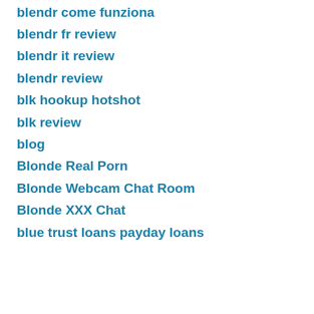blendr come funziona
blendr fr review
blendr it review
blendr review
blk hookup hotshot
blk review
blog
Blonde Real Porn
Blonde Webcam Chat Room
Blonde XXX Chat
blue trust loans payday loans